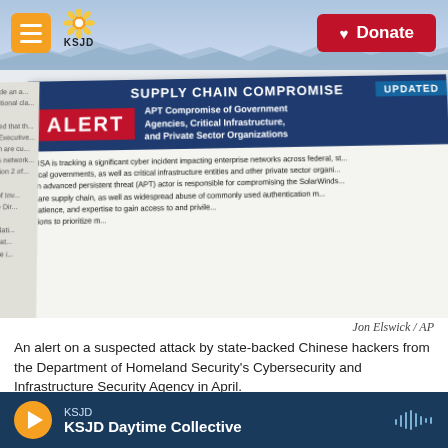KSJD — Donate
[Figure (photo): A CISA government alert document titled 'SUPPLY CHAIN COMPROMISE' with 'UPDATED' badge. Shows an orange ALERT box with text 'APT Compromise of Government Agencies, Critical Infrastructure, and Private Sector Organizations'. Body text reads: 'CISA is tracking a significant cyber incident impacting enterprise networks across federal, state and local governments, as well as critical infrastructure entities and other private sector organizations. An advanced persistent threat (APT) actor is responsible for compromising the SolarWinds Orion software supply chain, as well as widespread abuse of commonly used authentication mechanisms.']
Jon Elswick / AP
An alert on a suspected attack by state-backed Chinese hackers from the Department of Homeland Security's Cybersecurity and Infrastructure Security Agency in April.
The White House is publicly blaming China for an
KSJD — KSJD Daytime Collective